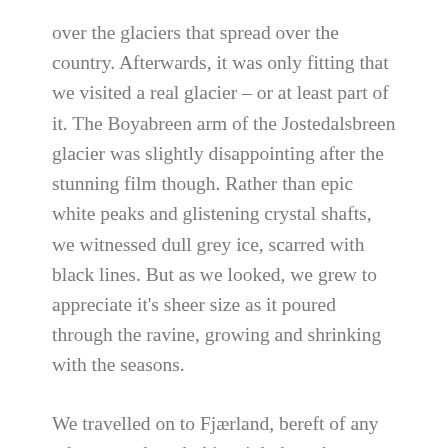over the glaciers that spread over the country. Afterwards, it was only fitting that we visited a real glacier – or at least part of it. The Boyabreen arm of the Jostedalsbreen glacier was slightly disappointing after the stunning film though. Rather than epic white peaks and glistening crystal shafts, we witnessed dull grey ice, scarred with black lines. But as we looked, we grew to appreciate it's sheer size as it poured through the ravine, growing and shrinking with the seasons.
We travelled on to Fjærland, bereft of any other cars, though this might have been down to the rather hefty toll to use the road. Fjærland itself is a small town known for it's second-hand bookshops. Basically my idea of heaven. A couple of wetsuit clad tourists, off to explore the Fjærlandfjord, trooped past as we stopped to buy crisps from a